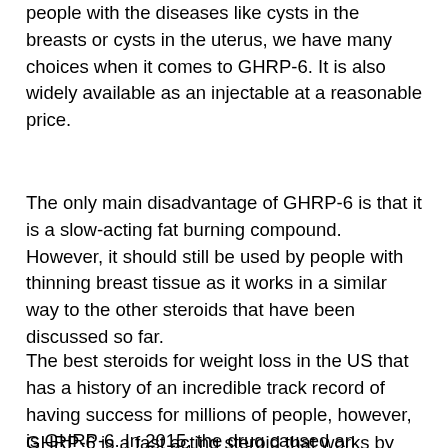people with the diseases like cysts in the breasts or cysts in the uterus, we have many choices when it comes to GHRP-6. It is also widely available as an injectable at a reasonable price.
The only main disadvantage of GHRP-6 is that it is a slow-acting fat burning compound. However, it should still be used by people with thinning breast tissue as it works in a similar way to the other steroids that have been discussed so far.
The best steroids for weight loss in the US that has a history of an incredible track record of having success for millions of people, however, is GHRP-6. In 2015, the drug caused an increase in the weight loss for more than 3 million people with a low price tag.
GHRP-6 is a fast acting steroid that works by